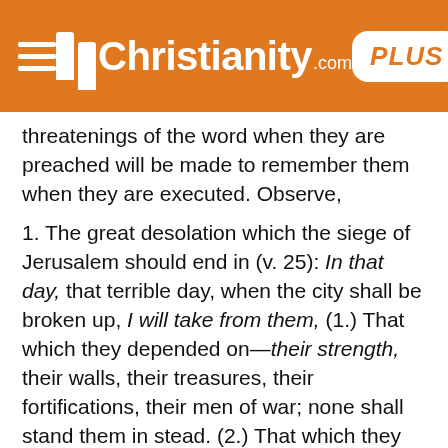Christianity.com PLUS
threatenings of the word when they are preached will be made to remember them when they are executed. Observe,
1. The great desolation which the siege of Jerusalem should end in (v. 25): In that day, that terrible day, when the city shall be broken up, I will take from them, (1.) That which they depended on—their strength, their walls, their treasures, their fortifications, their men of war; none shall stand them in stead. (2.) That which they boasted of—the joy of their glory, that which they looked upon as most their glory, and which they most rejoiced in, the temple of their God and the palaces of their princes. (3.) That which they delighted in, which was the